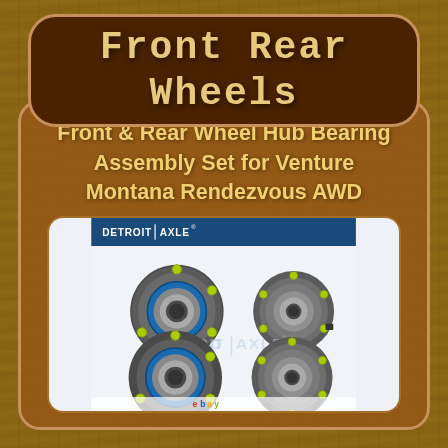Front Rear Wheels
Front & Rear Wheel Hub Bearing Assembly Set for Venture Montana Rendezvous AWD
[Figure (photo): Detroit Axle branded wheel hub bearing assemblies — four hub bearing units arranged in a 2x2 grid, showing front and rear wheel hub bearings with blue seals and yellow-green stud dots, on a white background with Detroit Axle watermark logo and eBay logo at bottom.]